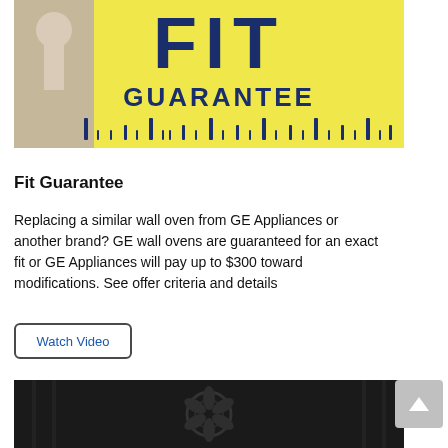[Figure (illustration): FIT GUARANTEE logo/badge on yellow background with ruler markings along the bottom and a key shape on the left side. Dark navy blue text reading 'FIT' large and 'GUARANTEE' below it.]
Fit Guarantee
Replacing a similar wall oven from GE Appliances or another brand? GE wall ovens are guaranteed for an exact fit or GE Appliances will pay up to $300 toward modifications. See offer criteria and details
[Figure (other): Button labeled 'Watch Video' with rounded rectangle border in dark outline, blue text]
[Figure (photo): Close-up dark photograph of a wall oven interior showing convection fan and oven racks]